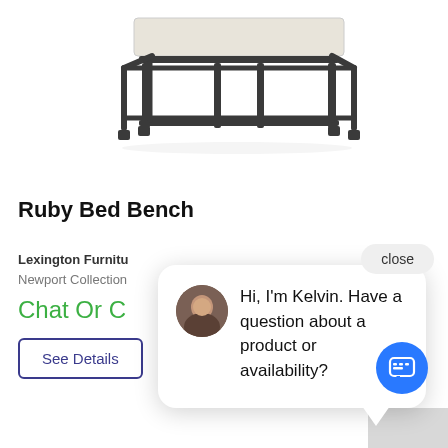[Figure (photo): Product photo of Ruby Bed Bench — a rectangular upholstered bench with light beige/cream cushion top and dark metal frame with cross-bar legs]
Ruby Bed Bench
Lexington Furnitu
Newport Collection
Chat Or C
See Details
close
Hi, I'm Kelvin. Have a question about a product or availability?